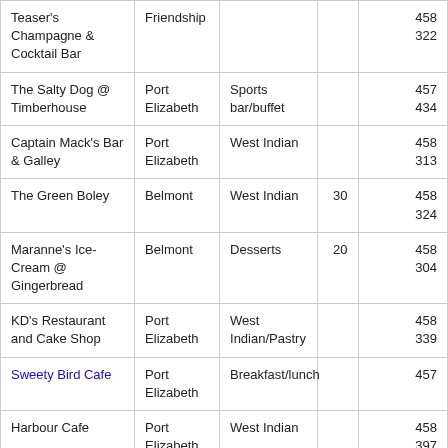| Name | Location | Cuisine/Type | Capacity | Phone |
| --- | --- | --- | --- | --- |
| Teaser's Champagne & Cocktail Bar | Friendship |  |  | 458
322 |
| The Salty Dog @ Timberhouse | Port Elizabeth | Sports bar/buffet |  | 457
434 |
| Captain Mack's Bar & Galley | Port Elizabeth | West Indian |  | 458
313 |
| The Green Boley | Belmont | West Indian | 30 | 458
324 |
| Maranne's Ice-Cream @ Gingerbread | Belmont | Desserts | 20 | 458
304 |
| KD's Restaurant and Cake Shop | Port Elizabeth | West Indian/Pastry |  | 458
339 |
| Sweety Bird Cafe | Port Elizabeth | Breakfast/lunch |  | 457... |
| Harbour Cafe | Port Elizabeth | West Indian |  | 458
397 |